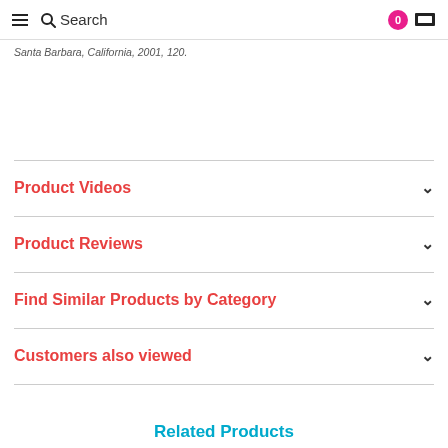Search  0
Santa Barbara, California, 2001, 120.
Product Videos
Product Reviews
Find Similar Products by Category
Customers also viewed
Related Products